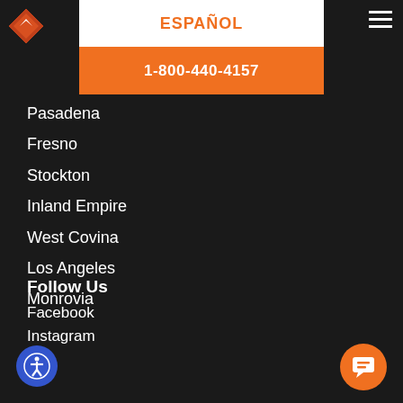[Figure (logo): Orange diamond-shaped logo with white arrow/chevron]
ESPAÑOL
1-800-440-4157
Pasadena
Fresno
Stockton
Inland Empire
West Covina
Los Angeles
Monrovia
Follow Us
Facebook
Instagram
[Figure (other): Blue circular accessibility icon (person with circle)]
[Figure (other): Orange circular chat/message icon]